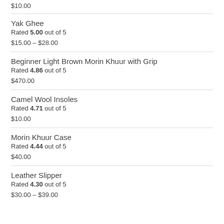$10.00
Yak Ghee
Rated 5.00 out of 5
$15.00 – $28.00
Beginner Light Brown Morin Khuur with Grip
Rated 4.86 out of 5
$470.00
Camel Wool Insoles
Rated 4.71 out of 5
$10.00
Morin Khuur Case
Rated 4.44 out of 5
$40.00
Leather Slipper
Rated 4.30 out of 5
$30.00 – $39.00